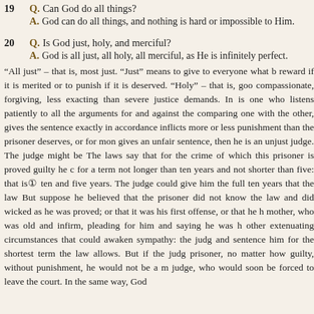19 Q. Can God do all things?
A. God can do all things, and nothing is hard or impossible to Him.
20 Q. Is God just, holy, and merciful?
A. God is all just, all holy, all merciful, as He is infinitely perfect.
“All just” – that is, most just. “Just” means to give to everyone what b reward if it is merited or to punish if it is deserved. “Holy” – that is, goo compassionate, forgiving, less exacting than severe justice demands. In is one who listens patiently to all the arguments for and against the comparing one with the other, gives the sentence exactly in accordance inflicts more or less punishment than the prisoner deserves, or for mon gives an unfair sentence, then he is an unjust judge. The judge might be The laws say that for the crime of which this prisoner is proved guilty he c for a term not longer than ten years and not shorter than five: that is ten and five years. The judge could give him the full ten years that the law But suppose he believed that the prisoner did not know the law and did wicked as he was proved; or that it was his first offense, or that he h mother, who was old and infirm, pleading for him and saying he was h other extenuating circumstances that could awaken sympathy: the judg and sentence him for the shortest term the law allows. But if the judg prisoner, no matter how guilty, without punishment, he would not be a m judge, who would soon be forced to leave the court. In the same way, God